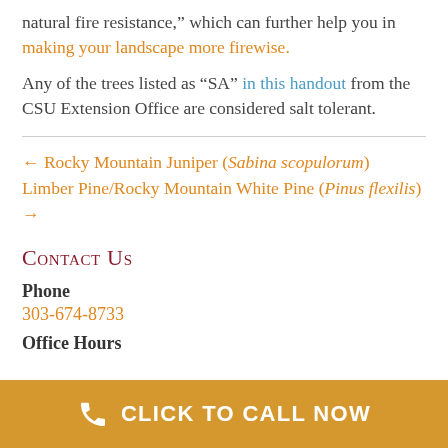natural fire resistance," which can further help you in making your landscape more firewise.
Any of the trees listed as “SA” in this handout from the CSU Extension Office are considered salt tolerant.
← Rocky Mountain Juniper (Sabina scopulorum) Limber Pine/Rocky Mountain White Pine (Pinus flexilis) →
Contact Us
Phone
303-674-8733
Office Hours
CLICK TO CALL NOW